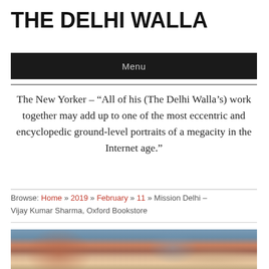THE DELHI WALLA
Menu
The New Yorker – “All of his (The Delhi Walla’s) work together may add up to one of the most eccentric and encyclopedic ground-level portraits of a megacity in the Internet age.”
Browse: Home » 2019 » February » 11 » Mission Delhi – Vijay Kumar Sharma, Oxford Bookstore
[Figure (photo): Photo of a man at what appears to be a bookstore, with bookshelves in the background.]